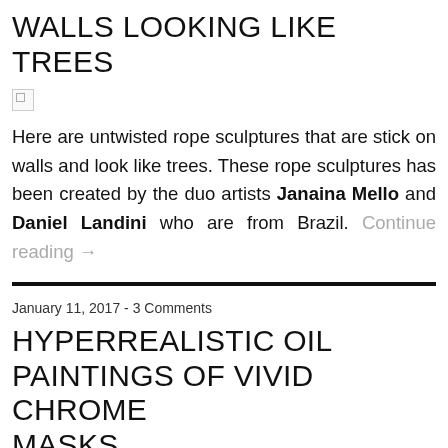WALLS LOOKING LIKE TREES
[Figure (photo): Broken image placeholder]
Here are untwisted rope sculptures that are stick on walls and look like trees. These rope sculptures has been created by the duo artists Janaina Mello and Daniel Landini who are from Brazil. Continue reading →
January 11, 2017 - 3 Comments
HYPERREALISTIC OIL PAINTINGS OF VIVID CHROME MASKS